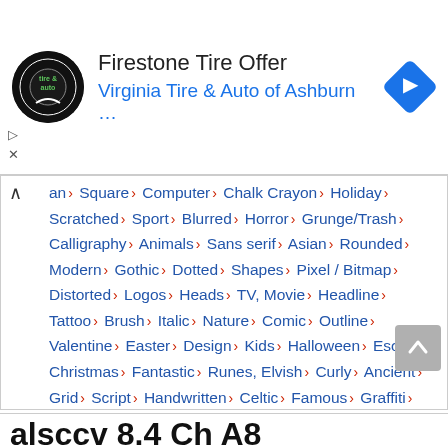[Figure (infographic): Firestone Tire Offer advertisement banner with circular logo, ad title 'Firestone Tire Offer', subtitle 'Virginia Tire & Auto of Ashburn …', and a blue diamond navigation arrow icon on the right.]
an › Square › Computer › Chalk Crayon › Holiday › Scratched › Sport › Blurred › Horror › Grunge/Trash › Calligraphy › Animals › Sans serif › Asian › Rounded › Modern › Gothic › Dotted › Shapes › Pixel / Bitmap › Distorted › Logos › Heads › TV, Movie › Headline › Tattoo › Brush › Italic › Nature › Comic › Outline › Valentine › Easter › Design › Kids › Halloween › Esoteric › Christmas › Fantastic › Runes, Elvish › Curly › Ancient › Grid › Script › Handwritten › Celtic › Famous › Graffiti › Games › Old School › Various › Fancy › Sci-Fi › 3D › Music › Font VNI › Various › B3 › B1 › Mac OS › Wedding › B2 › C4 › Android › genieesspv › Browse by Hashtag › Browse by Categories › Lefty › HTML Link › Privacy Policy › Google search my data fonts › Fonts Blog › Design tutorials › Design basics ›